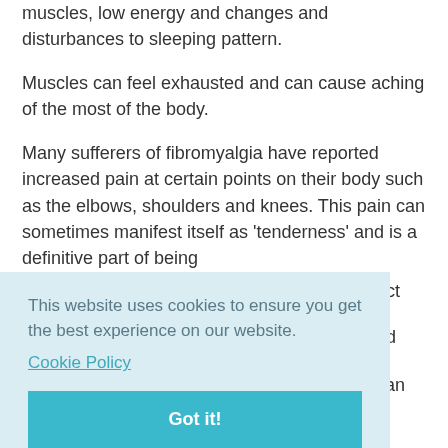muscles, low energy and changes and disturbances to sleeping pattern.
Muscles can feel exhausted and can cause aching of the most of the body.
Many sufferers of fibromyalgia have reported increased pain at certain points on their body such as the elbows, shoulders and knees. This pain can sometimes manifest itself as 'tenderness' and is a definitive part of being
[Figure (screenshot): Cookie consent banner with light blue background. Text reads: 'This website uses cookies to ensure you get the best experience on our website.' with a 'Cookie Policy' link and a teal 'Got it!' button.]
Other symptoms can include bowel and